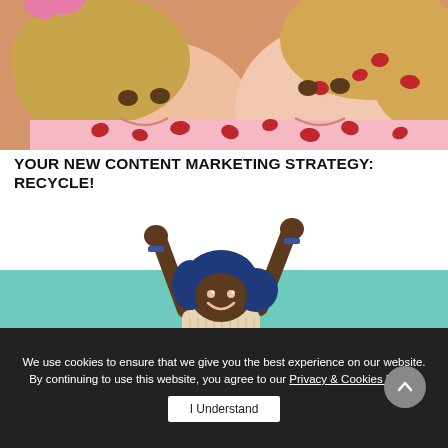[Figure (photo): Two young girls smiling closely together, both wearing pink patterned pajamas with red cat/animal prints]
YOUR NEW CONTENT MARKETING STRATEGY: RECYCLE!
[Figure (illustration): Illustration of a dark-skinned person with blue hair, arms raised in a victory/celebration pose, wearing a patterned top. Positioned against a teal/mint green background.]
We use cookies to ensure that we give you the best experience on our website. By continuing to use this website, you agree to our Privacy & Cookies Policy.
I Understand